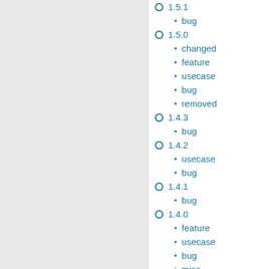1.5.1
bug
1.5.0
changed
feature
usecase
bug
removed
1.4.3
bug
1.4.2
usecase
bug
1.4.1
bug
1.4.0
feature
usecase
bug
misc
1.3.3